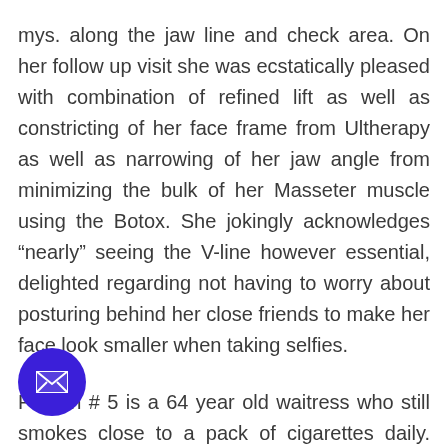mys. along the jaw line and check area. On her follow up visit she was ecstatically pleased with combination of refined lift as well as constricting of her face frame from Ultherapy as well as narrowing of her jaw angle from minimizing the bulk of her Masseter muscle using the Botox. She jokingly acknowledges “nearly” seeing the V-line however essential, delighted regarding not having to worry about posturing behind her close friends to make her face look smaller when taking selfies.
Person # 5 is a 64 year old waitress who still smokes close to a pack of cigarettes daily. She has been desiring for some type of lifting procedure for several years, however has constantly been worried to draw the trigger due close friends that looked for the worse in her eyes following their face raising surgical